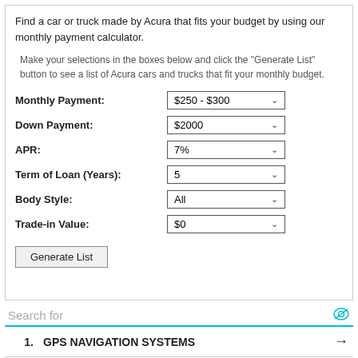Find a car or truck made by Acura that fits your budget by using our monthly payment calculator.
Make your selections in the boxes below and click the "Generate List" button to see a list of Acura cars and trucks that fit your monthly budget.
| Field | Value |
| --- | --- |
| Monthly Payment: | $250 - $300 |
| Down Payment: | $2000 |
| APR: | 7% |
| Term of Loan (Years): | 5 |
| Body Style: | All |
| Trade-in Value: | $0 |
Generate List
Search for
1. GPS NAVIGATION SYSTEMS →
2. CORVETTE NAVIGATION SYSTEM →